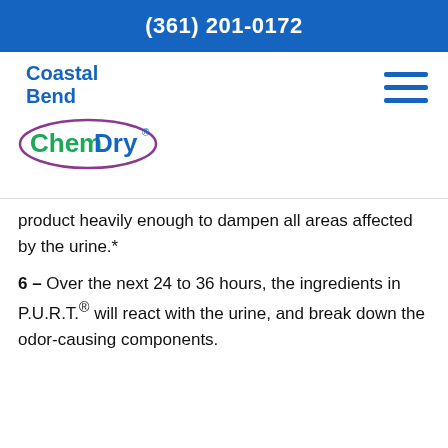(361) 201-0172
[Figure (logo): Coastal Bend ChemDry logo with teal and green oval emblem]
product heavily enough to dampen all areas affected by the urine.*
6 – Over the next 24 to 36 hours, the ingredients in P.U.R.T.® will react with the urine, and break down the odor-causing components.